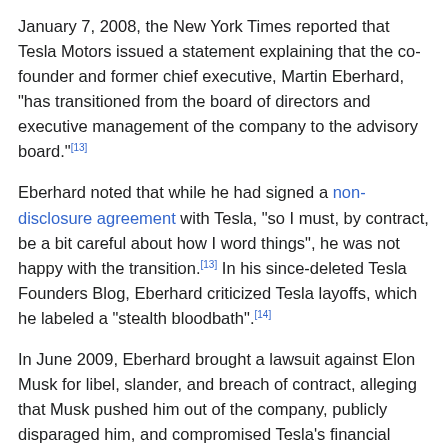January 7, 2008, the New York Times reported that Tesla Motors issued a statement explaining that the co-founder and former chief executive, Martin Eberhard, "has transitioned from the board of directors and executive management of the company to the advisory board."[13]
Eberhard noted that while he had signed a non-disclosure agreement with Tesla, "so I must, by contract, be a bit careful about how I word things", he was not happy with the transition.[13] In his since-deleted Tesla Founders Blog, Eberhard criticized Tesla layoffs, which he labeled a "stealth bloodbath".[14]
In June 2009, Eberhard brought a lawsuit against Elon Musk for libel, slander, and breach of contract, alleging that Musk pushed him out of the company, publicly disparaged him, and compromised Tesla's financial health.[15] In August 2009, Eberhard dropped the lawsuit for undisclosed reasons. A Tesla spokesperson declined to comment on the change, raising the likelihood of a settlement.[16] In September 2009, Tesla